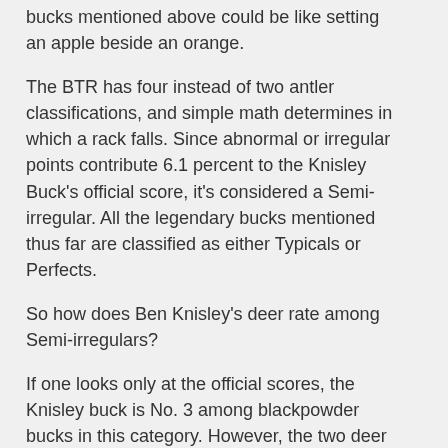bucks mentioned above could be like setting an apple beside an orange.
The BTR has four instead of two antler classifications, and simple math determines in which a rack falls. Since abnormal or irregular points contribute 6.1 percent to the Knisley Buck's official score, it's considered a Semi-irregular. All the legendary bucks mentioned thus far are classified as either Typicals or Perfects.
So how does Ben Knisley's deer rate among Semi-irregulars?
If one looks only at the official scores, the Knisley buck is No. 3 among blackpowder bucks in this category. However, the two deer above it benefit from 8.2 and 9.8 percent irregularity, meaning the Knisley rack has a far stronger typical mainframe.
Limiting comparisons to other Semi-irregulars with similar percentages, the Knisley Buck would be seventh in the world among all weapons categories. And it still has the lowest